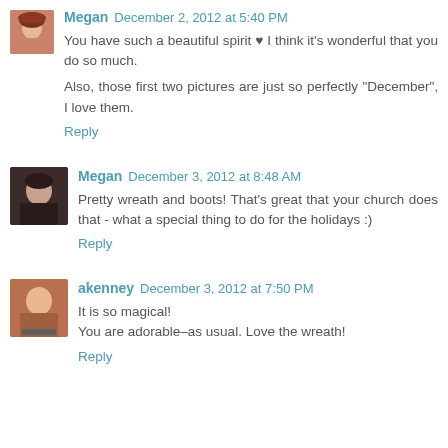Megan December 2, 2012 at 5:40 PM
You have such a beautiful spirit ♥ I think it's wonderful that you do so much.
Also, those first two pictures are just so perfectly "December", I love them.
Reply
Megan December 3, 2012 at 8:48 AM
Pretty wreath and boots! That's great that your church does that - what a special thing to do for the holidays :)
Reply
akenney December 3, 2012 at 7:50 PM
It is so magical!
You are adorable–as usual. Love the wreath!
Reply